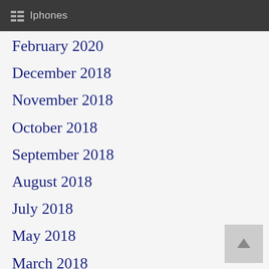Iphones
February 2020
December 2018
November 2018
October 2018
September 2018
August 2018
July 2018
May 2018
March 2018
February 2018
January 2018